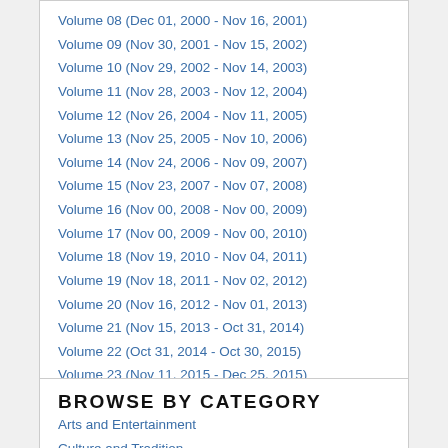Volume 08 (Dec 01, 2000 - Nov 16, 2001)
Volume 09 (Nov 30, 2001 - Nov 15, 2002)
Volume 10 (Nov 29, 2002 - Nov 14, 2003)
Volume 11 (Nov 28, 2003 - Nov 12, 2004)
Volume 12 (Nov 26, 2004 - Nov 11, 2005)
Volume 13 (Nov 25, 2005 - Nov 10, 2006)
Volume 14 (Nov 24, 2006 - Nov 09, 2007)
Volume 15 (Nov 23, 2007 - Nov 07, 2008)
Volume 16 (Nov 00, 2008 - Nov 00, 2009)
Volume 17 (Nov 00, 2009 - Nov 00, 2010)
Volume 18 (Nov 19, 2010 - Nov 04, 2011)
Volume 19 (Nov 18, 2011 - Nov 02, 2012)
Volume 20 (Nov 16, 2012 - Nov 01, 2013)
Volume 21 (Nov 15, 2013 - Oct 31, 2014)
Volume 22 (Oct 31, 2014 - Oct 30, 2015)
Volume 23 (Nov 11, 2015 - Dec 25, 2015)
BROWSE BY CATEGORY
Arts and Entertainment
Culture and Tradition